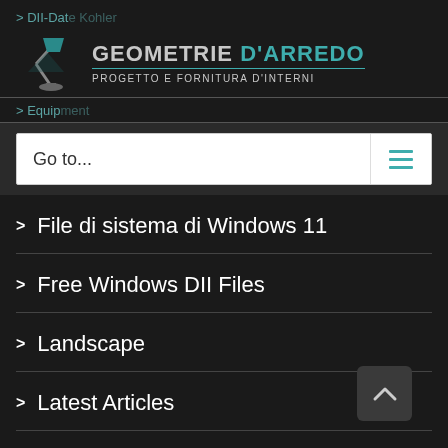> DII-Date Kohler
[Figure (logo): Geometrie D'Arredo logo with desk lamp icon. Text reads GEOMETRIE D'ARREDO in large letters with PROGETTO E FORNITURA D'INTERNI below.]
> Equipment
Go to...
> File di sistema di Windows 11
> Free Windows DII Files
> Landscape
> Latest Articles
> News
> Online Dating